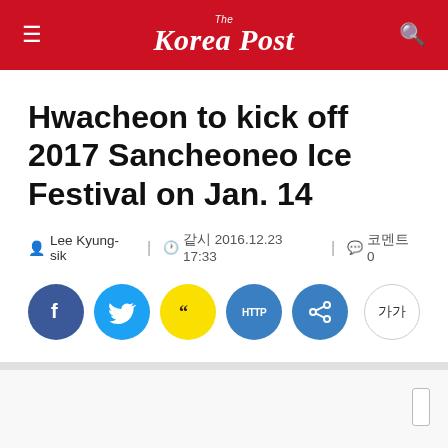The Korea Post
Hwacheon to kick off 2017 Sancheoneo Ice Festival on Jan. 14
Lee Kyung-sik  |  2016.12.23 17:33  |  0
[Figure (other): Social share buttons: Facebook, Twitter, Kakao, HTTP link, Share, and font size button (가가)]